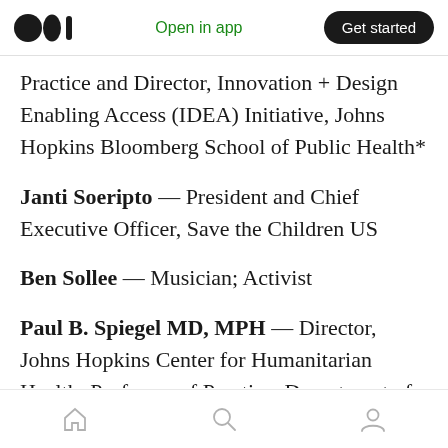Open in app | Get started
Practice and Director, Innovation + Design Enabling Access (IDEA) Initiative, Johns Hopkins Bloomberg School of Public Health*
Janti Soeripto — President and Chief Executive Officer, Save the Children US
Ben Sollee — Musician; Activist
Paul B. Spiegel MD, MPH — Director, Johns Hopkins Center for Humanitarian Health; Professor of Practice, Department of International Health and Johns Hopkins
[home] [search] [profile]